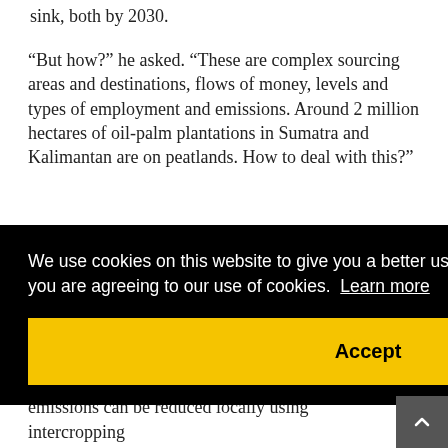sink, both by 2030.
“But how?” he asked. “These are complex sourcing areas and destinations, flows of money, levels and types of employment and emissions. Around 2 million hectares of oil-palm plantations in Sumatra and Kalimantan are on peatlands. How to deal with this?”
[Figure (screenshot): Cookie consent banner overlay with black background. Text reads: 'We use cookies on this website to give you a better user experience. By continuing to browse the site, you are agreeing to our use of cookies. Learn more' with a yellow 'Accept' button below.]
emissions can be reduced locally using intercropping